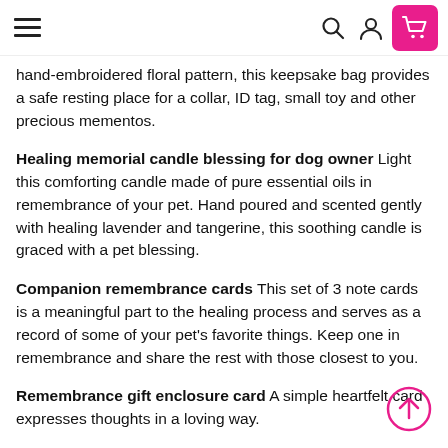Navigation header with hamburger menu, search, user, and cart icons
hand-embroidered floral pattern, this keepsake bag provides a safe resting place for a collar, ID tag, small toy and other precious mementos.
Healing memorial candle blessing for dog owner Light this comforting candle made of pure essential oils in remembrance of your pet. Hand poured and scented gently with healing lavender and tangerine, this soothing candle is graced with a pet blessing.
Companion remembrance cards This set of 3 note cards is a meaningful part to the healing process and serves as a record of some of your pet's favorite things. Keep one in remembrance and share the rest with those closest to you.
Remembrance gift enclosure card A simple heartfelt card expresses thoughts in a loving way.
Keepsake photo frame Printed on high quality card stock, this memorial photo frame holds up to a 3x3 photo of your